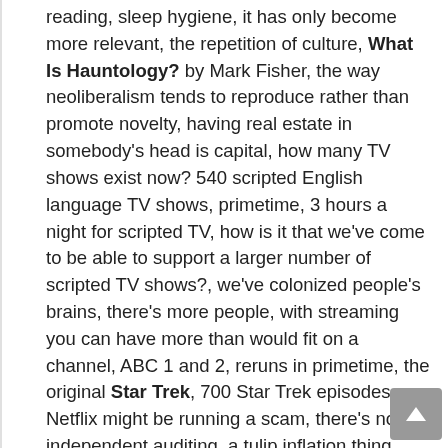reading, sleep hygiene, it has only become more relevant, the repetition of culture, What Is Hauntology? by Mark Fisher, the way neoliberalism tends to reproduce rather than promote novelty, having real estate in somebody's head is capital, how many TV shows exist now? 540 scripted English language TV shows, primetime, 3 hours a night for scripted TV, how is it that we've come to be able to support a larger number of scripted TV shows?, we've colonized people's brains, there's more people, with streaming you can have more than would fit on a channel, ABC 1 and 2, reruns in primetime, the original Star Trek, 700 Star Trek episodes, Netflix might be running a scam, there's no independent auditing, a tulip inflation thing, now there's all these shows and I can't trust the reviews, IMBD is not trustworthy, what is valuable now is honesty about what's worth your time, we've reversed our interaction with reality, blogs don't exist anymore, blogging has turned into videos, how he became